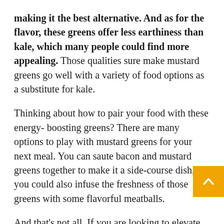making it the best alternative. And as for the flavor, these greens offer less earthiness than kale, which many people could find more appealing. Those qualities sure make mustard greens go well with a variety of food options as a substitute for kale.
Thinking about how to pair your food with these energy- boosting greens? There are many options to play with mustard greens for your next meal. You can saute bacon and mustard greens together to make it a side-course dish, or you could also infuse the freshness of those greens with some flavorful meatballs.
And that's not all. If you are looking to elevate comfort food with a dash of smoky flavor, you add in these delicious greens into a creamy stew for